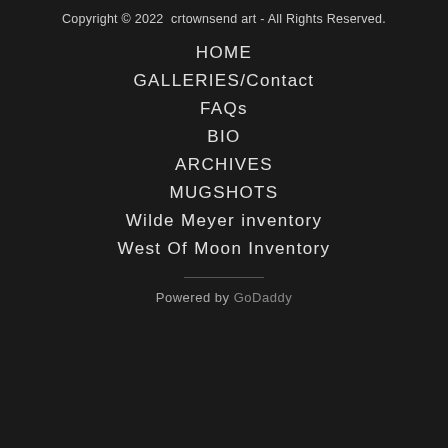Copyright © 2022  crtownsend art - All Rights Reserved.
HOME
GALLERIES/Contact
FAQs
BIO
ARCHIVES
MUGSHOTS
Wilde Meyer inventory
West Of Moon Inventory
Powered by GoDaddy